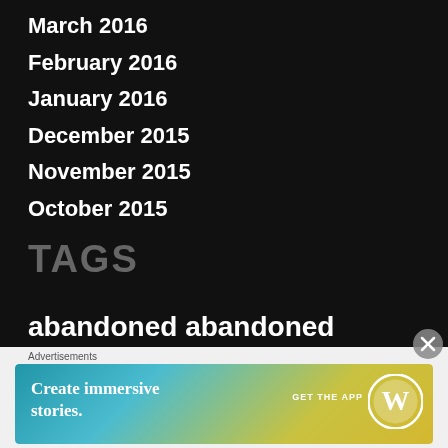March 2016
February 2016
January 2016
December 2015
November 2015
October 2015
TAGS
abandoned abandoned adelaide Abandoned Buildings
Advertisements
[Figure (infographic): WordPress advertisement banner: 'Create immersive stories. GET THE APP' with WordPress logo on gradient blue-yellow background]